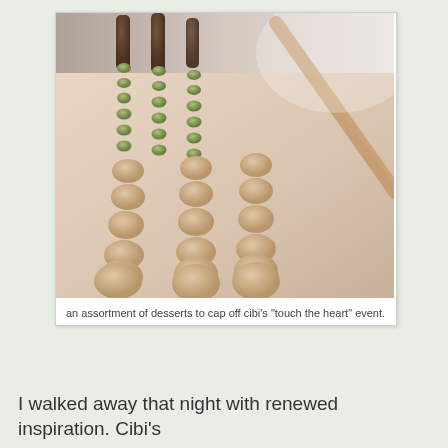[Figure (photo): Rows of small round desserts/sweets arranged in neat columns on a flat surface. Green-colored small balls in rows at the top, and larger beige/tan colored dough balls in rows below. Dark chocolate pieces visible at the top. A wooden stick is visible diagonally on the right side.]
an assortment of desserts to cap off cibi's "touch the heart" event.
I walked away that night with renewed inspiration. Cibi's